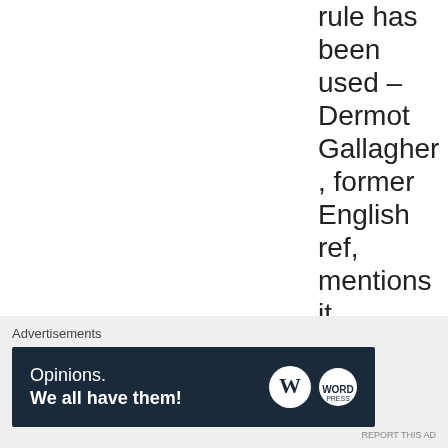rule has been used – Dermot Gallagher, former English ref, mentions it.
[Figure (other): Close/dismiss button (circled X icon)]
Advertisements
[Figure (other): WordPress advertisement banner: 'Opinions. We all have them!' with WordPress W logo and another circular logo on dark navy background.]